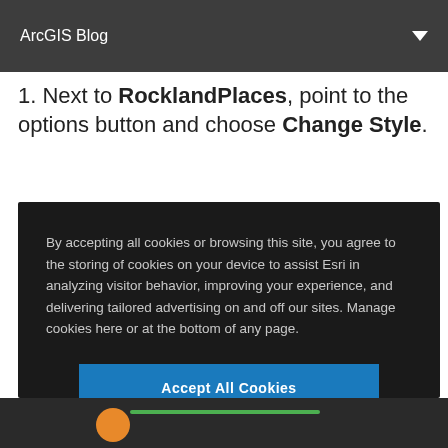ArcGIS Blog
1. Next to RocklandPlaces, point to the options button and choose Change Style.
By accepting all cookies or browsing this site, you agree to the storing of cookies on your device to assist Esri in analyzing visitor behavior, improving your experience, and delivering tailored advertising on and off our sites. Manage cookies here or at the bottom of any page.
Accept All Cookies
Cookies Settings